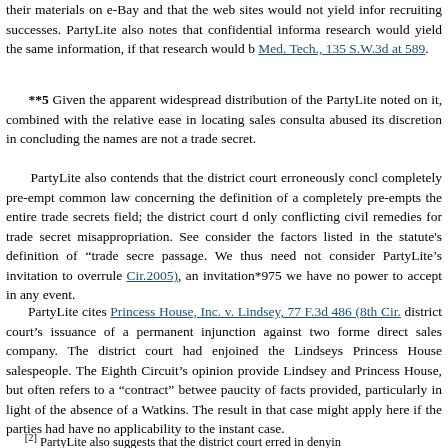their materials on e-Bay and that the web sites would not yield info recruiting successes. PartyLite also notes that confidential informa research would yield the same information, if that research would b Med. Tech., 135 S.W.3d at 589.
**5 Given the apparent widespread distribution of the PartyLite noted on it, combined with the relative ease in locating sales consulta abused its discretion in concluding the names are not a trade secret.
PartyLite also contends that the district court erroneously concl completely pre-empt common law concerning the definition of a completely pre-empts the entire trade secrets field; the district court d only conflicting civil remedies for trade secret misappropriation. See consider the factors listed in the statute's definition of "trade secre passage. We thus need not consider PartyLite's invitation to overrule Cir.2005), an invitation*975 we have no power to accept in any event.
PartyLite cites Princess House, Inc. v. Lindsey, 77 F.3d 486 (8th Cir. district court's issuance of a permanent injunction against two forme direct sales company. The district court had enjoined the Lindseys Princess House salespeople. The Eighth Circuit's opinion provide Lindsey and Princess House, but often refers to a "contract" betwee paucity of facts provided, particularly in light of the absence of a Watkins. The result in that case might apply here if the parties had have no applicability to the instant case.
[2] PartyLite also suggests that the district court erred in denyin